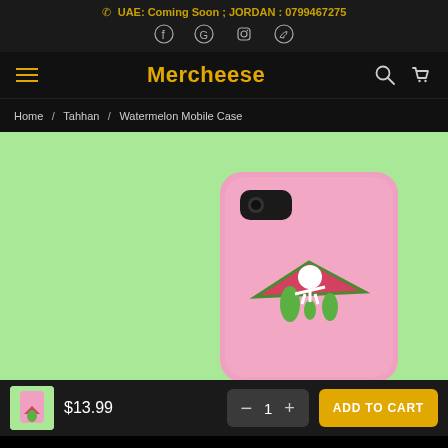UAE: Coming Soon ; JORDAN : 0799467275
Mercheese
Home / Tahhan / Watermelon Mobile Case
[Figure (photo): Hand holding a pink mobile phone case with a watermelon-slice dripping graphic design, on a light green background]
$13.99
ADD TO CART